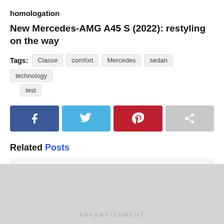homologation
New Mercedes-AMG A45 S (2022): restyling on the way
Tags: Classe comfort Mercedes sedan technology test
[Figure (other): Social share buttons: Facebook, Twitter, Pinterest, Share]
Related Posts
[Figure (other): Related post card placeholder (light gray box)]
ADVERTISEMENT